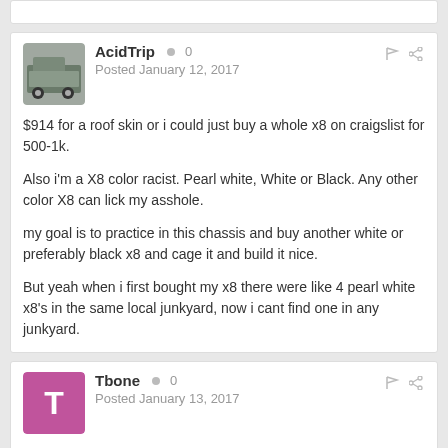AidTrip · 0
Posted January 12, 2017

$914 for a roof skin or i could just buy a whole x8 on craigslist for 500-1k.

Also i'm a X8 color racist. Pearl white, White or Black. Any other color X8 can lick my asshole.

my goal is to practice in this chassis and buy another white or preferably black x8 and cage it and build it nice.

But yeah when i first bought my x8 there were like 4 pearl white x8's in the same local junkyard, now i cant find one in any junkyard.
Tbone · 0
Posted January 13, 2017